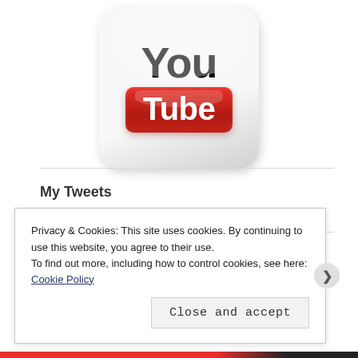[Figure (logo): YouTube logo showing 'You' in black text above a red rounded rectangle button with white 'Tube' text, styled as an app icon with rounded corners and gradient background]
My Tweets
Privacy & Cookies: This site uses cookies. By continuing to use this website, you agree to their use.
To find out more, including how to control cookies, see here: Cookie Policy
Close and accept